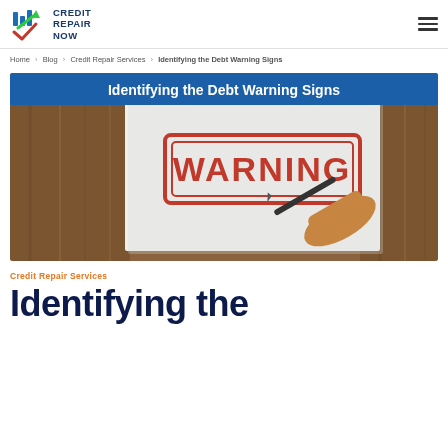Credit Repair Now
Home > Blog > Credit Repair Services > Identifying the Debt Warning Signs
[Figure (photo): Hero image with blue header bar reading 'Identifying the Debt Warning Signs' and a photo of a hand stamping a sheet of paper with a red WARNING stamp on a wooden table background.]
Credit Repair Services
Identifying the